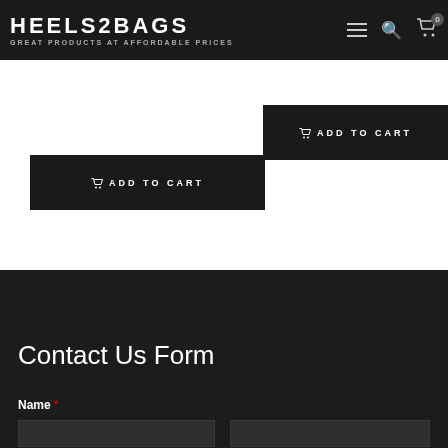BLUE 08
HEELS2BAGS — GREAT PRODUCTS AT AFFORDABLE PRICES
ADD TO CART
ADD TO CART
Contact Us Form
Name *